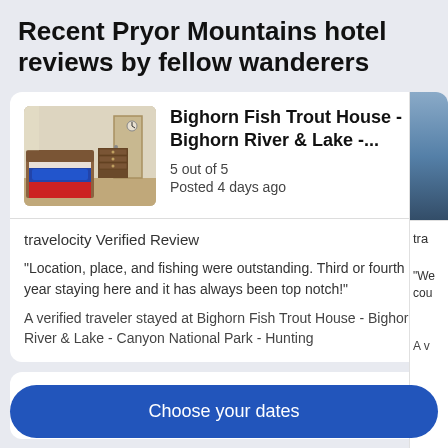Recent Pryor Mountains hotel reviews by fellow wanderers
[Figure (photo): Hotel room interior showing a bed with red/blue bedding, dresser, and door]
Bighorn Fish Trout House - Bighorn River & Lake -...
5 out of 5
Posted 4 days ago
travelocity Verified Review
"Location, place, and fishing were outstanding. Third or fourth year staying here and it has always been top notch!"
A verified traveler stayed at Bighorn Fish Trout House - Bighorn River & Lake - Canyon National Park - Hunting
Hotels near...
Choose your dates